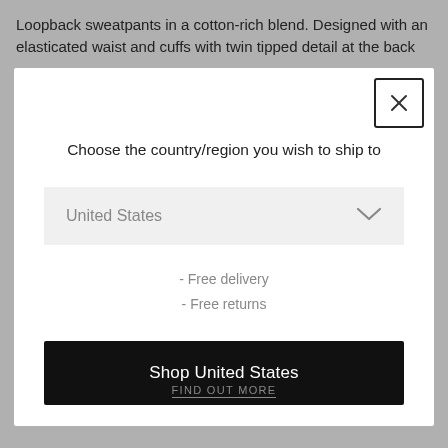Loopback sweatpants in a cotton-rich blend. Designed with an elasticated waist and cuffs with twin tipped detail at the back
[Figure (screenshot): Modal dialog box with close button (X) in top-right corner, title 'Choose the country/region you wish to ship to', a dropdown selector showing 'United States', benefit text listing '- Free delivery' and '- Free returns', a black 'Shop United States' button, and a 'FIND OUT MORE' link at the bottom.]